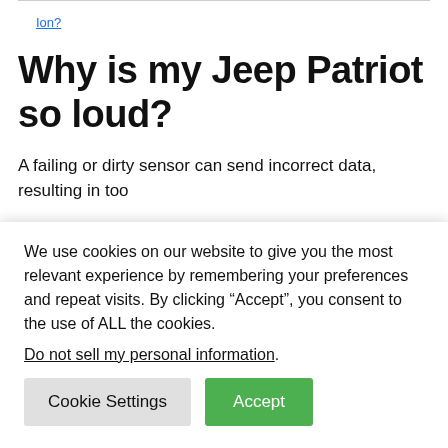Ion?
Why is my Jeep Patriot so loud?
A failing or dirty sensor can send incorrect data, resulting in too
We use cookies on our website to give you the most relevant experience by remembering your preferences and repeat visits. By clicking “Accept”, you consent to the use of ALL the cookies.
Do not sell my personal information.